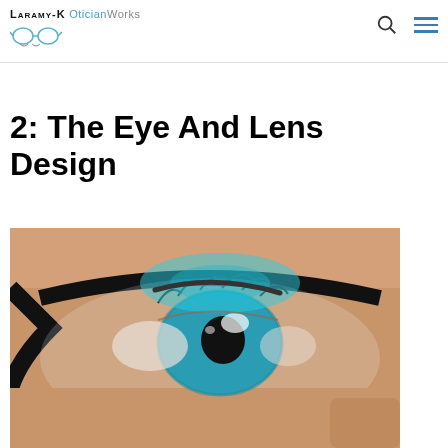Laramy-K OticianWorks
2: The Eye And Lens Design
[Figure (photo): Close-up photograph of a human eye viewed through a black-framed eyeglass lens, showing detailed eye anatomy with teal/blue iris and eyelashes reflected in the lens]